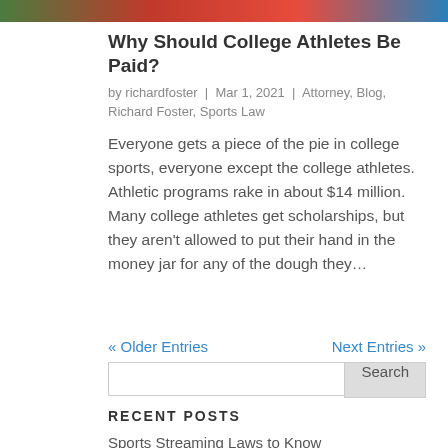[Figure (photo): Colorful banner image at top of page, partially cropped]
Why Should College Athletes Be Paid?
by richardfoster | Mar 1, 2021 | Attorney, Blog, Richard Foster, Sports Law
Everyone gets a piece of the pie in college sports, everyone except the college athletes. Athletic programs rake in about $14 million. Many college athletes get scholarships, but they aren't allowed to put their hand in the money jar for any of the dough they...
« Older Entries   Next Entries »
Search
RECENT POSTS
Sports Streaming Laws to Know